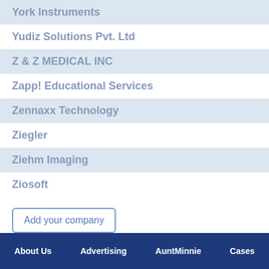York Instruments
Yudiz Solutions Pvt. Ltd
Z & Z MEDICAL INC
Zapp! Educational Services
Zennaxx Technology
Ziegler
Ziehm Imaging
Ziosoft
Add your company
Verify E-mail
About Us   Advertising   AuntMinnie   Cases